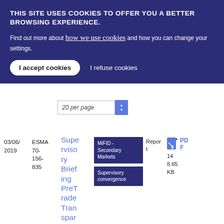THIS SITE USES COOKIES TO OFFER YOU A BETTER BROWSING EXPERIENCE. Find out more about how we use cookies and how you can change your settings.
I accept cookies | I refuse cookies
20 per page
| Date | Reference | Title | Tags | Type | File |
| --- | --- | --- | --- | --- | --- |
| 03/06/2019 | ESMA 70-156-835 | Supervisory Briefing PreTrade Transparency | MiFID - Secondary Markets | Supervisory convergence | Report | PDF 148.65 KB |